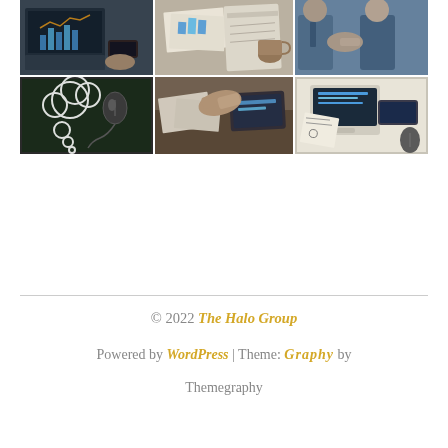[Figure (photo): A 2x3 grid of business/technology stock photos: person typing on laptop with charts on screen, documents and calendar on desk, businesspeople shaking hands, chalkboard with cloud thought bubble and mouse, two people shaking hands over papers and tablet, aerial view of laptop and papers with sketches]
© 2022 The Halo Group
Powered by WordPress | Theme: Graphy by Themegraphy